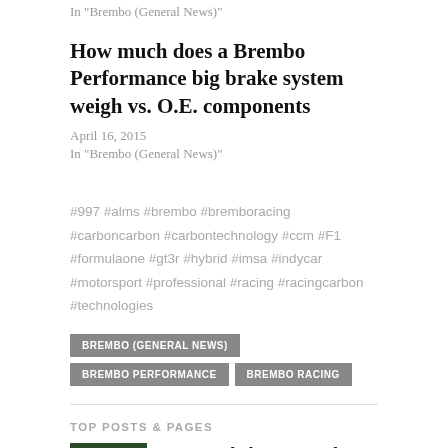In "Brembo (General News)"
How much does a Brembo Performance big brake system weigh vs. O.E. components
April 16, 2015
In "Brembo (General News)"
#997 #alms #brembo #bremboracing #carboncarbon #carbontechnology #ccm #F1 #formulaone #gt3r #hybrid #imsa #indycar #motorsport #professional #racing #racingcarbon #technologies
BREMBO (GENERAL NEWS)   BREMBO PERFORMANCE   BREMBO RACING
TOP POSTS & PAGES
How much does a Brembo Performance big